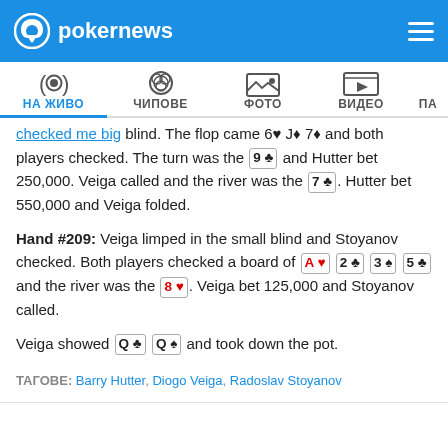pokernews
checked me big blind. The flop came 6♥ J♦ 7♦ and both players checked. The turn was the 9♣ and Hutter bet 250,000. Veiga called and the river was the 7♣. Hutter bet 550,000 and Veiga folded.
Hand #209: Veiga limped in the small blind and Stoyanov checked. Both players checked a board of A♥ 2♣ 3♠ 5♣ and the river was the 8♥. Veiga bet 125,000 and Stoyanov called.
Veiga showed Q♣ Q♠ and took down the pot.
ТАГОВЕ: Barry Hutter, Diogo Veiga, Radoslav Stoyanov